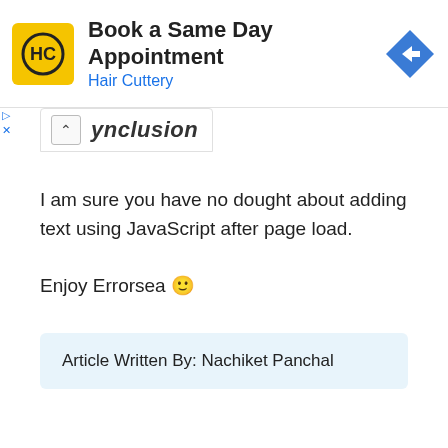[Figure (other): Hair Cuttery advertisement banner: logo (yellow square with HC letters), headline 'Book a Same Day Appointment', subtext 'Hair Cuttery', and a blue diamond navigation arrow icon on the right.]
...ynclusion
I am sure you have no dought about adding text using JavaScript after page load.
Enjoy Errorsea 🙂
Article Written By: Nachiket Panchal